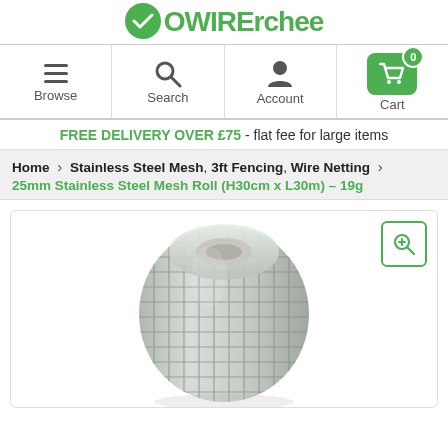OWIRErchee - logo header
[Figure (screenshot): Navigation bar with Browse, Search, Account and Cart (0) icons]
FREE DELIVERY OVER £75 - flat fee for large items
Home > Stainless Steel Mesh, 3ft Fencing, Wire Netting > 25mm Stainless Steel Mesh Roll (H30cm x L30m) – 19g
[Figure (photo): Roll of 25mm stainless steel wire mesh/netting, cylindrical roll shape, silver metallic, showing grid pattern of welded wire]